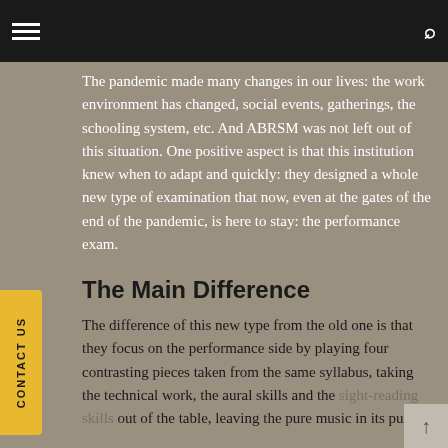navigation bar with hamburger menu and search icon
The pandemic made many changes in our lives: the work environment has changed, social events, gatherings, the schooling system, etc. And ABRSM was not left out of this situation. One positive aspect is that this institution knew when to adapt and quickly: they designed a whole new type of examination that now, even at the gates of the end of the pandemic, is here to stay: the performance exam.
The Main Difference
The difference of this new type from the old one is that they focus on the performance side by playing four contrasting pieces taken from the same syllabus, taking the technical work, the aural skills and the sight-reading skills out of the table, leaving the pure music in its purest